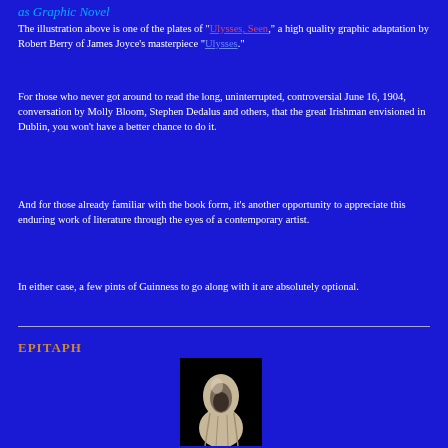as Graphic Novel
The illustration above is one of the plates of "Ulysses, Seen," a high quality graphic adaptation by Robert Berry of James Joyce's masterpiece "Ulysses."
For those who never got around to read the long, uninterrupted, controversial June 16, 1904, conversation by Molly Bloom, Stephen Dedalus and others, that the great Irishman envisioned in Dublin, you won't have a better chance to do it.
And for those already familiar with the book form, it's another opportunity to appreciate this enduring work of literature through the eyes of a contemporary artist.
In either case, a few pints of Guinness to go along with it are absolutely optional.
EPITAPH
[Figure (photo): A hooded stone or marble figure/statue rendered in light stone color against a black background, appearing to be a draped, robed funerary sculpture]